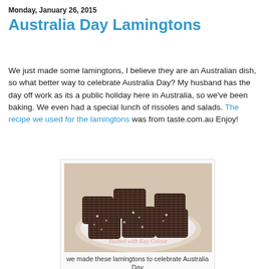Monday, January 26, 2015
Australia Day Lamingtons
We just made some lamingtons, I believe they are an Australian dish, so what better way to celebrate Australia Day? My husband has the day off work as its a public holiday here in Australia, so we've been baking. We even had a special lunch of rissoles and salads. The recipe we used for the lamingtons was from taste.com.au Enjoy!
[Figure (photo): A plate of chocolate-coconut lamingtons stacked on a white plate, with a watermark reading 'flushed with Kay Colour']
we made these lamingtons to celebrate Australia Day